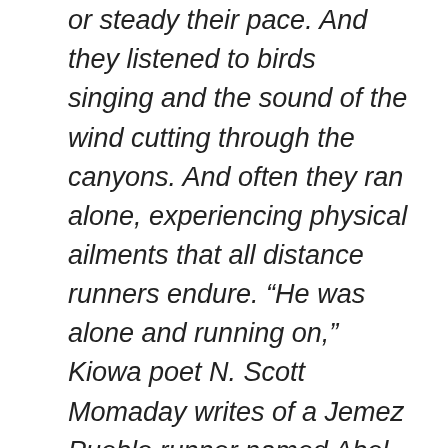heart telling them to adjust or steady their pace. And they listened to birds singing and the sound of the wind cutting through the canyons. And often they ran alone, experiencing physical ailments that all distance runners endure. “He was alone and running on,” Kiowa poet N. Scott Momaday writes of a Jemez Pueblo runner named Abel. “All of his being was concentrated in the sheer motion of running on, and he was past caring about pain.” In the high desert of Arizona, Hopi runners also beheld beautiful landscapes ,